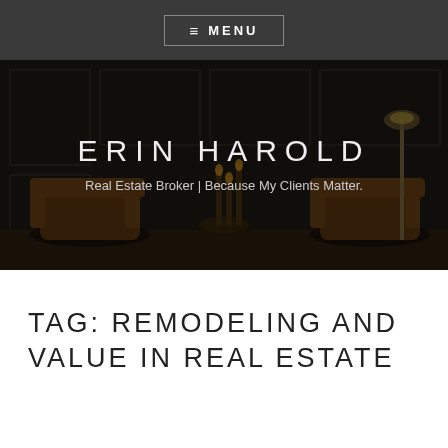≡ MENU
[Figure (photo): Dark moody interior room with two brown leather Chesterfield armchairs and a floor lamp against dark paneled walls, serving as a hero background image]
ERIN HAROLD
Real Estate Broker | Because My Clients Matter.
TAG: REMODELING AND VALUE IN REAL ESTATE